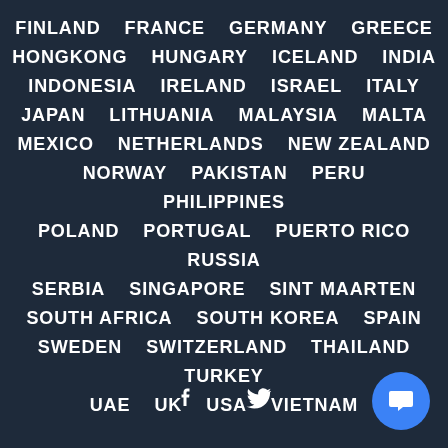FINLAND FRANCE GERMANY GREECE HONGKONG HUNGARY ICELAND INDIA INDONESIA IRELAND ISRAEL ITALY JAPAN LITHUANIA MALAYSIA MALTA MEXICO NETHERLANDS NEW ZEALAND NORWAY PAKISTAN PERU PHILIPPINES POLAND PORTUGAL PUERTO RICO RUSSIA SERBIA SINGAPORE SINT MAARTEN SOUTH AFRICA SOUTH KOREA SPAIN SWEDEN SWITZERLAND THAILAND TURKEY UAE UK USA VIETNAM
[Figure (illustration): Facebook and Twitter social media icons in white at bottom center]
[Figure (illustration): Blue circular chat button with white speech bubble icon at bottom right]